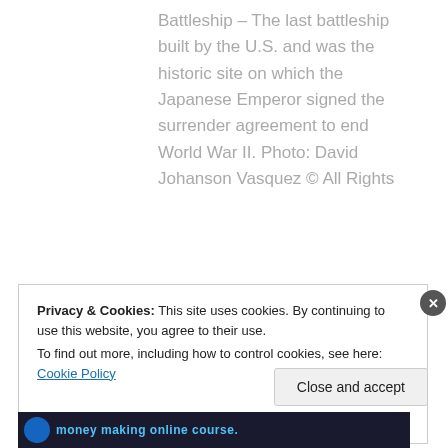Battleship – The last battleship built by the U.S. and was the historic site on which the Japanese Emperor signed the surrender agreement to end World War II. Photo: David Johanson Vasquez © All Rights
Privacy & Cookies: This site uses cookies. By continuing to use this website, you agree to their use. To find out more, including how to control cookies, see here: Cookie Policy
Close and accept